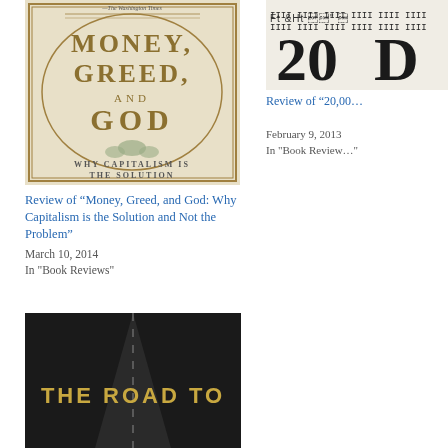[Figure (photo): Book cover of 'Money, Greed, and God: Why Capitalism is the Solution' — cream/gold colored ornate cover with large serif text]
Review of “Money, Greed, and God: Why Capitalism is the Solution and Not the Problem”
March 10, 2014
In "Book Reviews"
[Figure (photo): Book cover of 'The Road To...' — dark road with yellow text]
[Figure (photo): Partial book cover showing tally marks and number 20 — partially cropped on the right side]
Review of “20,00…”
February 9, 2013
In "Book Review…"